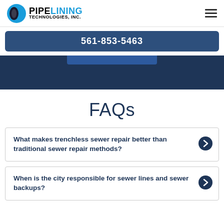PIPE LINING TECHNOLOGIES, INC.
561-853-5463
FAQs
What makes trenchless sewer repair better than traditional sewer repair methods?
When is the city responsible for sewer lines and sewer backups?